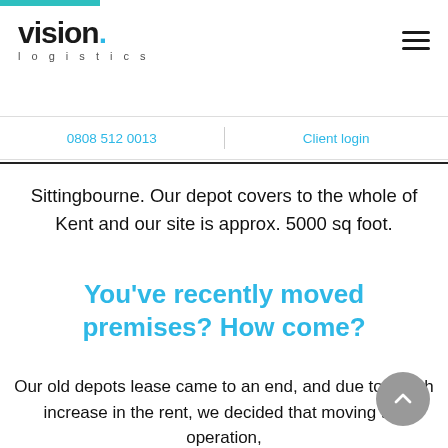[Figure (logo): Vision Logistics logo with teal dot and 'logistics' subtitle, teal top bar accent]
0808 512 0013   |   Client login
Sittingbourne.  Our depot covers to the whole of Kent and our site is approx. 5000 sq foot.
You've recently moved premises? How come?
Our old depots lease came to an end, and due to a high increase in the rent, we decided that moving the operation,